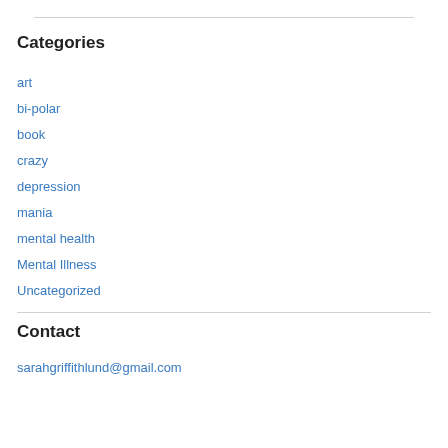Categories
art
bi-polar
book
crazy
depression
mania
mental health
Mental Illness
Uncategorized
Contact
sarahgriffithlund@gmail.com